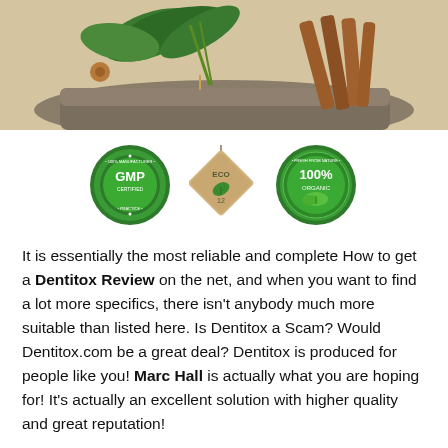[Figure (photo): Photo of herbs, spices (star anise, cinnamon sticks, green leaves) on a stone slab background]
[Figure (infographic): Three certification badges: GMP Certified (green circular seal), ECO 12 (diamond-shaped tan tag), and 100% Organic (green circular seal)]
It is essentially the most reliable and complete How to get a Dentitox Review on the net, and when you want to find a lot more specifics, there isn't anybody much more suitable than listed here. Is Dentitox a Scam? Would Dentitox.com be a great deal? Dentitox is produced for people like you! Marc Hall is actually what you are hoping for! It's actually an excellent solution with higher quality and great reputation!
Dentitox Pro is incredible equation, which comprises of